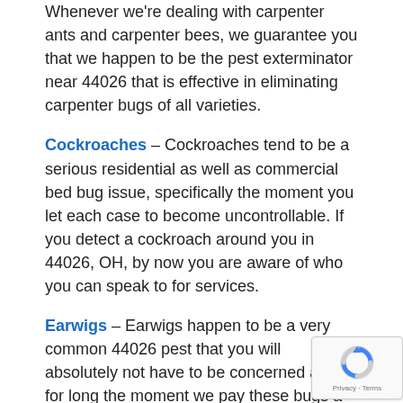Whenever we're dealing with carpenter ants and carpenter bees, we guarantee you that we happen to be the pest exterminator near 44026 that is effective in eliminating carpenter bugs of all varieties.
Cockroaches – Cockroaches tend to be a serious residential as well as commercial bed bug issue, specifically the moment you let each case to become uncontrollable. If you detect a cockroach around you in 44026, OH, by now you are aware of who you can speak to for services.
Earwigs – Earwigs happen to be a very common 44026 pest that you will absolutely not have to be concerned about for long the moment we pay these bugs a visit.
Fleas and Tick Control – If fleas are